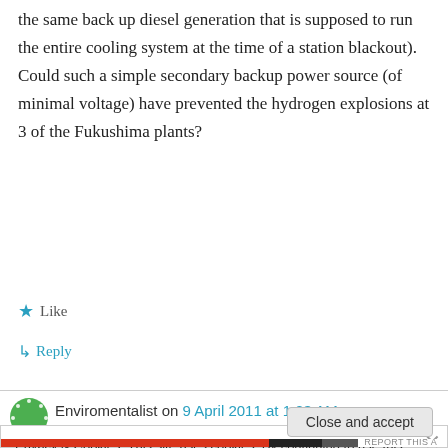the same back up diesel generation that is supposed to run the entire cooling system at the time of a station blackout). Could such a simple secondary backup power source (of minimal voltage) have prevented the hydrogen explosions at 3 of the Fukushima plants?
Like
Reply
Enviromentalist on 9 April 2011 at 1:23 AM
Privacy & Cookies: This site uses cookies. By continuing to use this website, you agree to their use. To find out more, including how to control cookies, see here: Cookie Policy